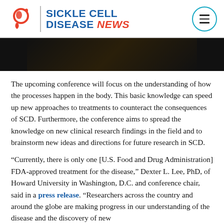SICKLE CELL DISEASE NEWS
[Figure (photo): Dark photograph, partially visible at top of content area]
The upcoming conference will focus on the understanding of how the processes happen in the body. This basic knowledge can speed up new approaches to treatments to counteract the consequences of SCD. Furthermore, the conference aims to spread the knowledge on new clinical research findings in the field and to brainstorm new ideas and directions for future research in SCD.
“Currently, there is only one [U.S. Food and Drug Administration] FDA-approved treatment for the disease,” Dexter L. Lee, PhD, of Howard University in Washington, D.C. and conference chair, said in a press release. “Researchers across the country and around the globe are making progress in our understanding of the disease and the discovery of new